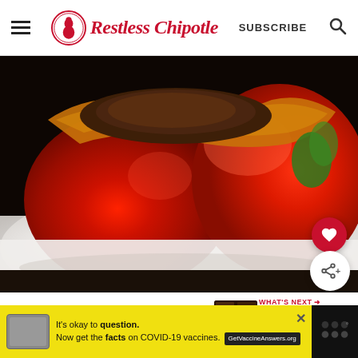Restless Chipotle — SUBSCRIBE
[Figure (photo): Close-up photo of a stuffed red bell pepper wrapped in bacon, filled with ground meat, served on a white plate with a green herb garnish]
[Figure (photo): WHAT'S NEXT thumbnail — Chewy Brownie chocolate brownie image]
WHAT'S NEXT → Chewy Brownie...
[Figure (infographic): Advertisement: It's okay to question. Now get the facts on COVID-19 vaccines. GetVaccineAnswers.org]